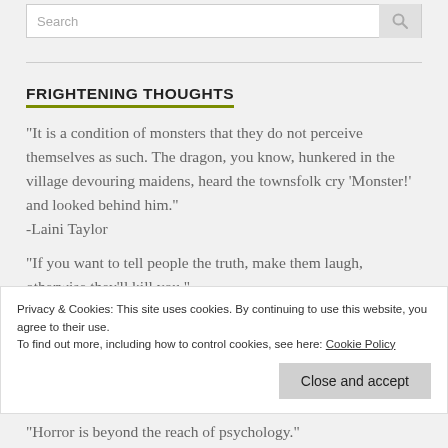Search
FRIGHTENING THOUGHTS
“It is a condition of monsters that they do not perceive themselves as such. The dragon, you know, hunkered in the village devouring maidens, heard the townsfolk cry ‘Monster!’ and looked behind him.”
-Laini Taylor
“If you want to tell people the truth, make them laugh, otherwise they’ll kill you.”
Privacy & Cookies: This site uses cookies. By continuing to use this website, you agree to their use.
To find out more, including how to control cookies, see here: Cookie Policy
“Horror is beyond the reach of psychology.”